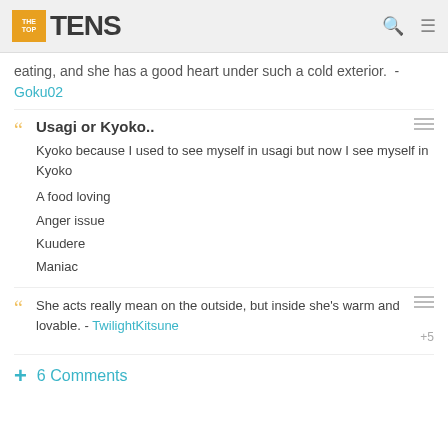THE TOP TENS
eating, and she has a good heart under such a cold exterior. - Goku02
Usagi or Kyoko..
Kyoko because I used to see myself in usagi but now I see myself in Kyoko
A food loving
Anger issue
Kuudere
Maniac
She acts really mean on the outside, but inside she's warm and lovable. - TwilightKitsune
+ 6 Comments